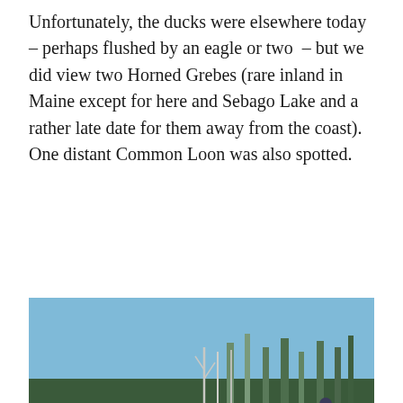Unfortunately, the ducks were elsewhere today – perhaps flushed by an eagle or two – but we did view two Horned Grebes (rare inland in Maine except for here and Sebago Lake and a rather late date for them away from the coast). One distant Common Loon was also spotted.
[Figure (photo): Group of birdwatchers standing on a snowy lakeshore, looking through binoculars and cameras toward a lake, surrounded by bare winter trees. Watermark reads '© Don Littlefield/The Maine Brew Bus'.]
[Figure (photo): Partial view of a snowy winter scene with blue sky and bare trees, the top portion of a second photograph.]